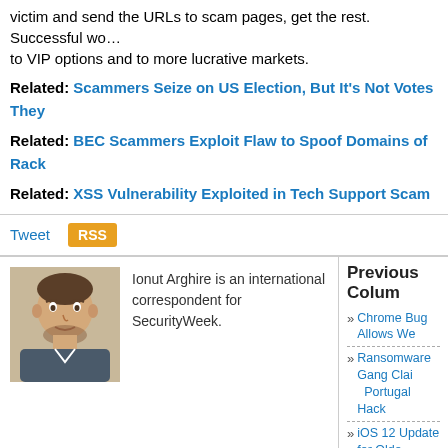victim and send the URLs to scam pages, get the rest. Successful wo... to VIP options and to more lucrative markets.
Related: Scammers Seize on US Election, But It's Not Votes They...
Related: BEC Scammers Exploit Flaw to Spoof Domains of Rack...
Related: XSS Vulnerability Exploited in Tech Support Scam
Tweet | RSS
[Figure (photo): Author photo of Ionut Arghire]
Ionut Arghire is an international correspondent for SecurityWeek.
Previous Colum...
Chrome Bug Allows We...
Ransomware Gang Clai... Portugal Hack
iOS 12 Update for Older...
1.4 Million Users Install... eCommerce Sites
WordPress 6.0.2 Patche... of Legacy Sites
2022 ICS Cyber Security Conference | USA [Hybrid: Oct. 24-27]
2022 CISO Forum: September 13-14 - A Virtual Event